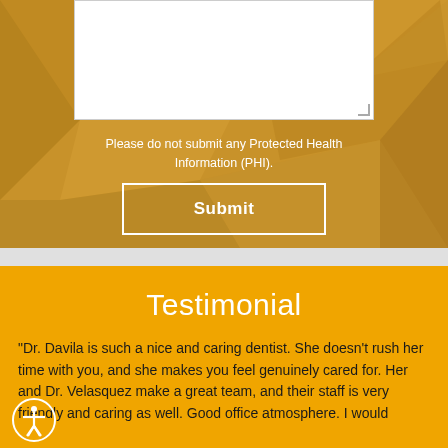[Figure (screenshot): Text area input box (white) on gold/amber geometric polygon background]
Please do not submit any Protected Health Information (PHI).
Submit
Testimonial
"Dr. Davila is such a nice and caring dentist. She doesn't rush her time with you, and she makes you feel genuinely cared for. Her and Dr. Velasquez make a great team, and their staff is very friendly and caring as well. Good office atmosphere. I would